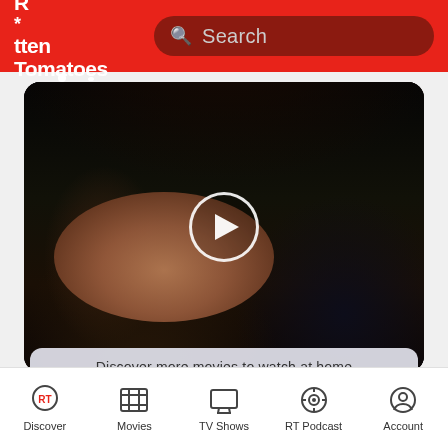[Figure (screenshot): Rotten Tomatoes mobile app header with logo and search bar]
[Figure (photo): Dark cinematic video thumbnail showing a close-up of a person's face with dark hair, with a play button overlay]
Discover more movies to watch at home
BLACK BEAUTY
[Figure (screenshot): Bottom navigation bar with Discover, Movies, TV Shows, RT Podcast, Account icons]